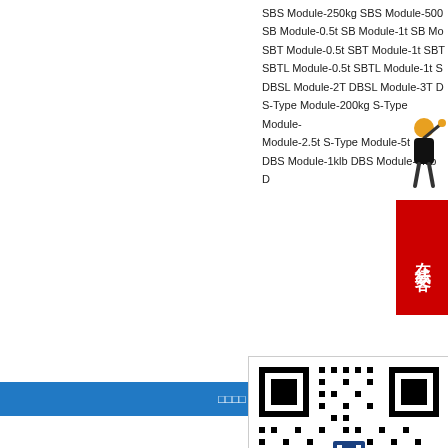SBS Module-250kg SBS Module-500 SB Module-0.5t SB Module-1t SB Mo SBT Module-0.5t SBT Module-1t SBT SBTL Module-0.5t SBTL Module-1t S DBSL Module-2T DBSL Module-3T D S-Type Module-200kg S-Type Module- Module-2.5t S-Type Module-5t DBS Module-1klb DBS Module-5klb D
□□□□□□□□□□□□□
Transcell BAB S□□□□□□
Transcell BSA S□□□□□□
Transcell BSH□□□□□□□□
Transcell B...
Transcell D...
□□□□ | □ □□0755 □□□□□□□□□□ -2
[Figure (other): Person icon and QR code with company logo overlay]